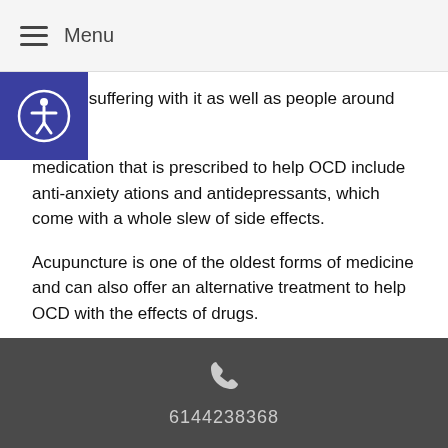Menu
person suffering with it as well as people around them.
medication that is prescribed to help OCD include anti-anxiety ations and antidepressants, which come with a whole slew of side effects.
Acupuncture is one of the oldest forms of medicine and can also offer an alternative treatment to help OCD with the effects of drugs.
In Traditional Chinese Medicine, OCD is considered to be caused by an imbalance of the kidneys. When kidneys are not functioning properly, the body and mind can become stressed.
Acupuncture works by the specific placement of needles on different points throughout the body. These points work to release blockages in the body and return the body back to its natural flow and as a result
6144238368